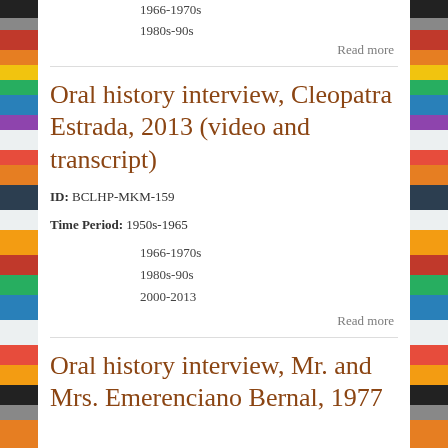1966-1970s
1980s-90s
Read more
Oral history interview, Cleopatra Estrada, 2013 (video and transcript)
ID: BCLHP-MKM-159
Time Period: 1950s-1965
1966-1970s
1980s-90s
2000-2013
Read more
Oral history interview, Mr. and Mrs. Emerenciano Bernal, 1977